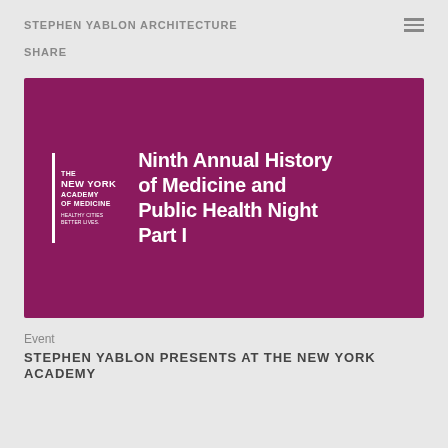STEPHEN YABLON ARCHITECTURE
SHARE
[Figure (illustration): Purple/magenta presentation slide for 'Ninth Annual History of Medicine and Public Health Night Part I' featuring the New York Academy of Medicine logo on the left (white vertical bar with stacked text: THE / NEW YORK / ACADEMY / OF MEDICINE / HEALTHY CITIES BETTER LIVES) and bold white event title text on the right.]
Event
STEPHEN YABLON PRESENTS AT THE NEW YORK ACADEMY